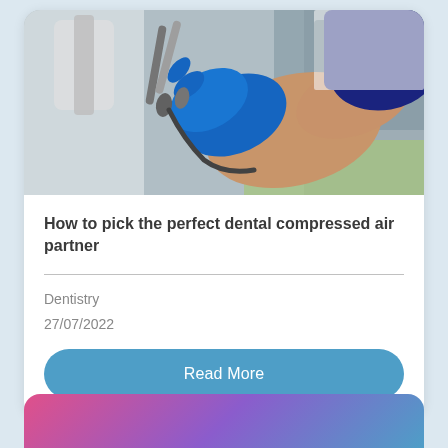[Figure (photo): A dental professional wearing blue gloves holding dental instruments (handpieces/drills) in a clinical dental setting with equipment in the background.]
How to pick the perfect dental compressed air partner
Dentistry
27/07/2022
Read More
[Figure (illustration): Partial view of a colorful gradient card (pink to purple to blue) at the bottom of the page.]